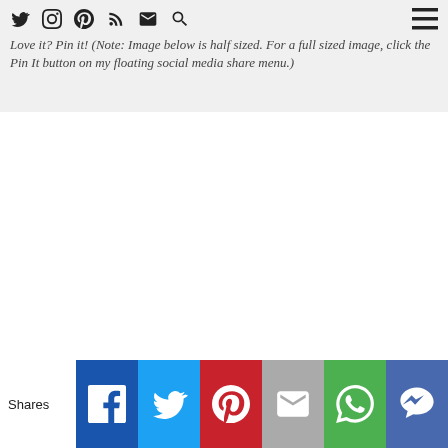Love it? Pin it! (Note: Image below is half sized. For a full sized image, click the Pin It button on my floating social media share menu.)
[Figure (other): White blank area representing a half-sized pinnable image placeholder]
Shares | Facebook | Twitter | Pinterest | Email | WhatsApp | Mailer